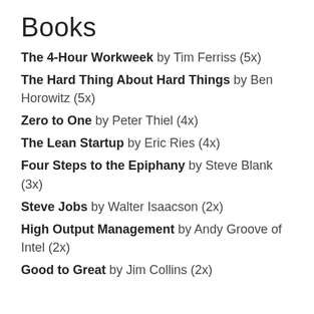Books
The 4-Hour Workweek by Tim Ferriss (5x)
The Hard Thing About Hard Things by Ben Horowitz (5x)
Zero to One by Peter Thiel (4x)
The Lean Startup by Eric Ries (4x)
Four Steps to the Epiphany by Steve Blank (3x)
Steve Jobs by Walter Isaacson (2x)
High Output Management by Andy Groove of Intel (2x)
Good to Great by Jim Collins (2x)